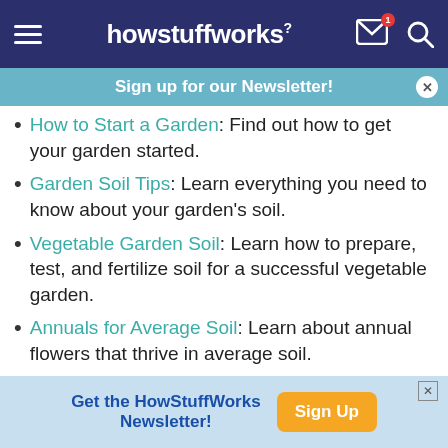howstuffworks
Sign up for our Newsletter!
How to Start a Garden: Find out how to get your garden started.
Garden Soil Tips: Learn everything you need to know about your garden's soil.
Vegetable Garden Soil: Learn how to prepare, test, and fertilize soil for a successful vegetable garden.
Annuals for Average Soil: Learn about annual flowers that thrive in average soil.
Perennials for Average Soil: Find out which perennials do best in average soil.
Get the HowStuffWorks Newsletter! Sign Up